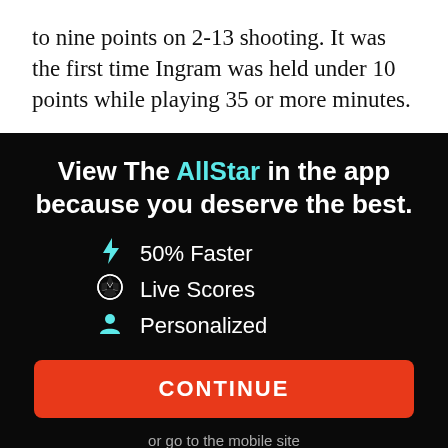to nine points on 2-13 shooting. It was the first time Ingram was held under 10 points while playing 35 or more minutes.
View The AllStar in the app because you deserve the best.
⚡ 50% Faster
⚽ Live Scores
👤 Personalized
CONTINUE
or go to the mobile site